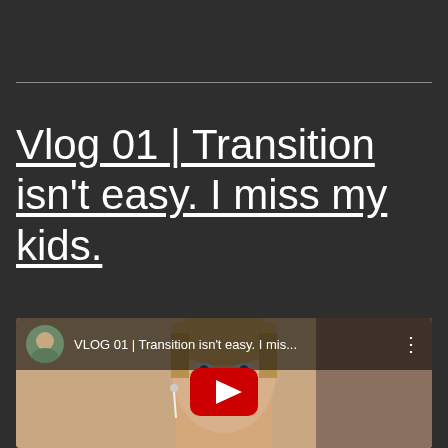Vlog 01 | Transition isn't easy. I miss my kids.
[Figure (screenshot): YouTube video thumbnail showing a woman with short hair. Top bar shows avatar, video title 'VLOG 01 | Transition isn't easy. I mis...' and a three-dot menu. A red YouTube play button is visible at the bottom center.]